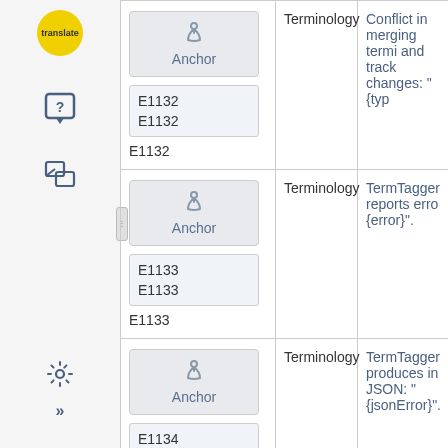[Figure (screenshot): Sidebar navigation with logo, icons, and collapse handle]
| ID | Category | Description |
| --- | --- | --- |
| Anchor
E1132
E1132
E1132 | Terminology | Conflict in merging termi and track changes: "{typ |
| Anchor
E1133
E1133
E1133 | Terminology | TermTagger reports erro {error}". |
| Anchor
E1134
E1134 | Terminology | TermTagger produces in JSON: "{jsonError}". |